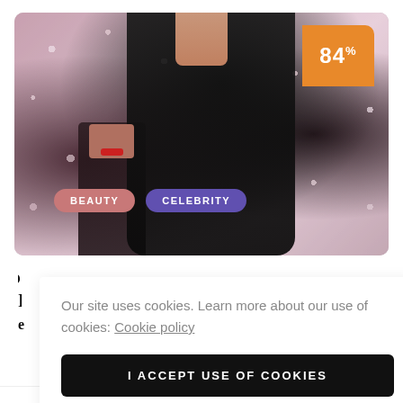[Figure (photo): Fashion photo showing a woman in a large black fur coat in the foreground with a floral background. A second woman with dark hair and red lips is partially visible behind her. An orange badge in the top right shows '84%'. Two category tags are visible: 'BEAUTY' in pink/salmon and 'CELEBRITY' in purple.]
llection
ort or extra
Our site uses cookies. Learn more about our use of cookies: Cookie policy
I ACCEPT USE OF COOKIES